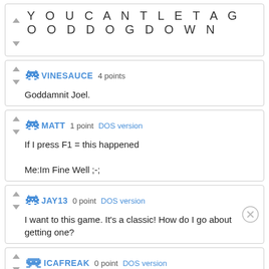YOUCANTLETAGOODDOGDOWN
VINESAUCE 4 points
Goddamnit Joel.
MATT 1 point DOS version
If I press F1 = this happened

Me:Im Fine Well ;-;
JAY13 0 point DOS version
I want to this game. It's a classic! How do I go about getting one?
ICAFREAK 0 point DOS version
I take issue with the description above. I was 6 when this